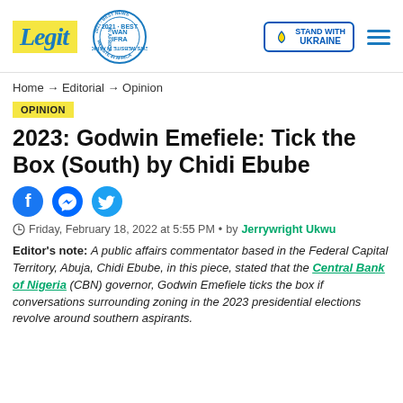Legit | WAN IFRA Best News Website in Africa 2021 | Stand With Ukraine
Home → Editorial → Opinion
OPINION
2023: Godwin Emefiele: Tick the Box (South) by Chidi Ebube
[Figure (other): Social media share icons: Facebook, Messenger, Twitter]
Friday, February 18, 2022 at 5:55 PM • by Jerrywright Ukwu
Editor's note: A public affairs commentator based in the Federal Capital Territory, Abuja, Chidi Ebube, in this piece, stated that the Central Bank of Nigeria (CBN) governor, Godwin Emefiele ticks the box if conversations surrounding zoning in the 2023 presidential elections revolve around southern aspirants.